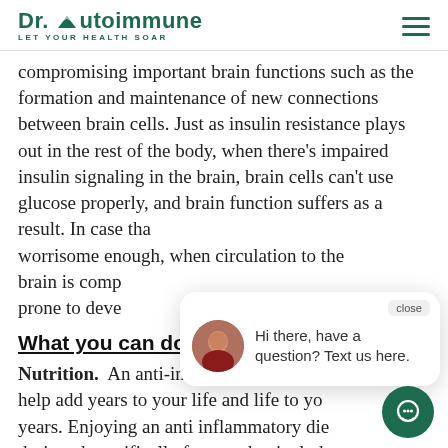Dr. Autoimmune — LET YOUR HEALTH SOAR
compromising important brain functions such as the formation and maintenance of new connections between brain cells. Just as insulin resistance plays out in the rest of the body, when there's impaired insulin signaling in the brain, brain cells can't use glucose properly, and brain function suffers as a result. In case that's worrisome enough, when circulation to the brain is compromised, the brain is more prone to developing...
What you can do
Nutrition.  An anti-inflammatory diet can help add years to your life and life to your years. Enjoying an anti inflammatory diet designed specifically for you that includes